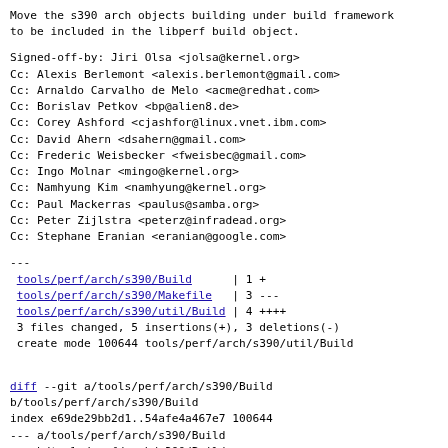Move the s390 arch objects building under build framework
to be included in the libperf build object.
Signed-off-by: Jiri Olsa <jolsa@kernel.org>
Cc: Alexis Berlemont <alexis.berlemont@gmail.com>
Cc: Arnaldo Carvalho de Melo <acme@redhat.com>
Cc: Borislav Petkov <bp@alien8.de>
Cc: Corey Ashford <cjashfor@linux.vnet.ibm.com>
Cc: David Ahern <dsahern@gmail.com>
Cc: Frederic Weisbecker <fweisbec@gmail.com>
Cc: Ingo Molnar <mingo@kernel.org>
Cc: Namhyung Kim <namhyung@kernel.org>
Cc: Paul Mackerras <paulus@samba.org>
Cc: Peter Zijlstra <peterz@infradead.org>
Cc: Stephane Eranian <eranian@google.com>
---
 tools/perf/arch/s390/Build      | 1 +
 tools/perf/arch/s390/Makefile   | 3 ---
 tools/perf/arch/s390/util/Build | 4 ++++
 3 files changed, 5 insertions(+), 3 deletions(-)
 create mode 100644 tools/perf/arch/s390/util/Build
diff --git a/tools/perf/arch/s390/Build
b/tools/perf/arch/s390/Build
index e69de29bb2d1..54afe4a467e7 100644
--- a/tools/perf/arch/s390/Build
+++ b/tools/perf/arch/s390/Build
@@ -0,0 +1 @@
+libperf-y += util/